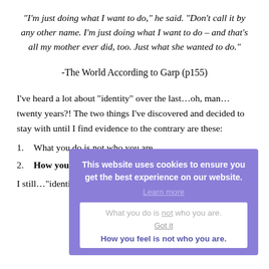“I’m just doing what I want to do,” he said. “Don’t call it by any other name. I’m just doing what I want to do – and that’s all my mother ever did, too. Just what she wanted to do.”
-The World According to Garp (p155)
I’ve heard a lot about “identity” over the last…oh, man…twenty years?! The two things I’ve discovered and decided to stay with until I find evidence to the contrary are these:
1. What you do is not who you are.
2. How you feel is not who you are.
I still…“identify”…with the above because…M